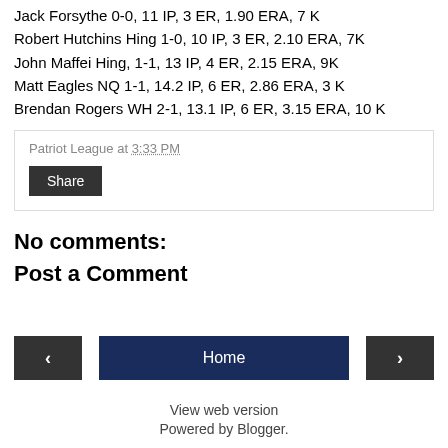Jack Forsythe 0-0, 11 IP, 3 ER, 1.90 ERA, 7 K
Robert Hutchins Hing 1-0, 10 IP, 3 ER, 2.10 ERA, 7K
John Maffei Hing, 1-1, 13 IP, 4 ER, 2.15 ERA, 9K
Matt Eagles NQ 1-1, 14.2 IP, 6 ER, 2.86 ERA, 3 K
Brendan Rogers WH 2-1, 13.1 IP, 6 ER, 3.15 ERA, 10 K
Patriot League at 3:33 PM
Share
No comments:
Post a Comment
View web version
Powered by Blogger.